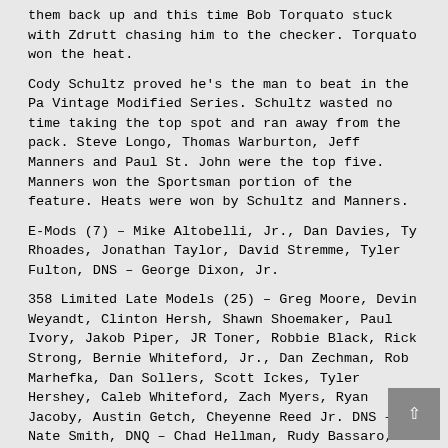them back up and this time Bob Torquato stuck with Zdrutt chasing him to the checker. Torquato won the heat.
Cody Schultz proved he's the man to beat in the Pa Vintage Modified Series. Schultz wasted no time taking the top spot and ran away from the pack. Steve Longo, Thomas Warburton, Jeff Manners and Paul St. John were the top five. Manners won the Sportsman portion of the feature. Heats were won by Schultz and Manners.
E-Mods (7) – Mike Altobelli, Jr., Dan Davies, Ty Rhoades, Jonathan Taylor, David Stremme, Tyler Fulton, DNS – George Dixon, Jr.
358 Limited Late Models (25) – Greg Moore, Devin Weyandt, Clinton Hersh, Shawn Shoemaker, Paul Ivory, Jakob Piper, JR Toner, Robbie Black, Rick Strong, Bernie Whiteford, Jr., Dan Zechman, Rob Marhefka, Dan Sollers, Scott Ickes, Tyler Hershey, Caleb Whiteford, Zach Myers, Ryan Jacoby, Austin Getch, Cheyenne Reed Jr. DNS – Nate Smith, DNQ – Chad Hellman, Rudy Bassaro, Mike Horne, Bill Burns.
Texas Auto Ranch 4 Cylinders (27) – Cody Young, Mike Phillipson, Jeff Huber, Joe Huber, Rob Williams, Justin Williams, Brandon Hoffner, Al Hoffner, Noah Swank, Michael Sinclair,